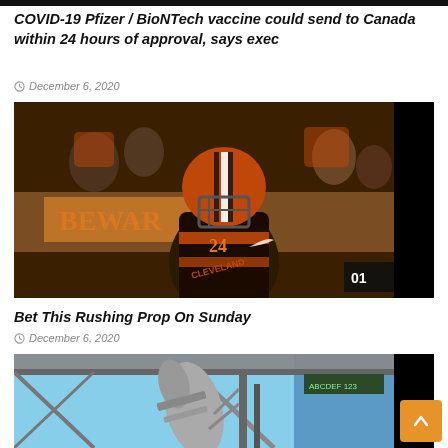COVID-19 Pfizer / BioNTech vaccine could send to Canada within 24 hours of approval, says exec
December 6, 2020
[Figure (photo): Cleveland Browns football player wearing orange and brown helmet and jersey number 24, running on field with crowd in background]
Bet This Rushing Prop On Sunday
December 6, 2020
[Figure (photo): Rocket or missile on launch structure, viewed from below, with blue sky and industrial building roof visible]